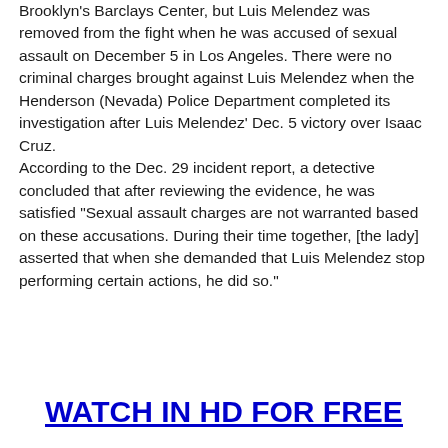Brooklyn's Barclays Center, but Luis Melendez was removed from the fight when he was accused of sexual assault on December 5 in Los Angeles. There were no criminal charges brought against Luis Melendez when the Henderson (Nevada) Police Department completed its investigation after Luis Melendez' Dec. 5 victory over Isaac Cruz. According to the Dec. 29 incident report, a detective concluded that after reviewing the evidence, he was satisfied "Sexual assault charges are not warranted based on these accusations. During their time together, [the lady] asserted that when she demanded that Luis Melendez stop performing certain actions, he did so."
WATCH IN HD FOR FREE